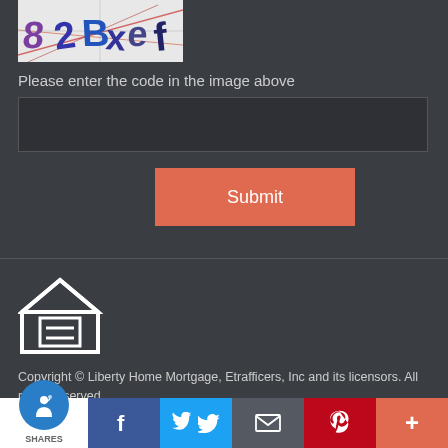[Figure (screenshot): CAPTCHA image showing distorted characters: 82Bxef with colored lines]
Please enter the code in the image above
[Figure (other): Text input field for CAPTCHA code]
[Figure (other): Submit button (salmon/orange-red color)]
[Figure (logo): Equal Housing Opportunity logo — house icon with equals sign and text EQUAL HOUSING OPPORTUNITY]
Copyright © Liberty Home Mortgage, Etrafficers, Inc and its licensors. All rights reserved. Mortgage Websites designed and powered by Etrafficers, Inc.
[Figure (other): Social share bar with accessibility icon, Facebook, Twitter, email, Pinterest, and more buttons. SHARES label shown.]